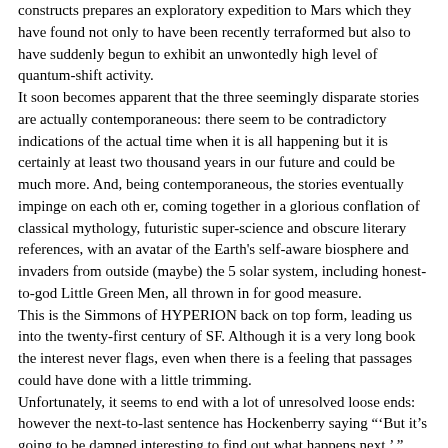constructs prepares an exploratory expedition to Mars which they have found not only to have been recently terraformed but also to have suddenly begun to exhibit an unwontedly high level of quantum-shift activity. It soon becomes apparent that the three seemingly disparate stories are actually contemporaneous: there seem to be contradictory indications of the actual time when it is all happening but it is certainly at least two thousand years in our future and could be much more. And, being contemporaneous, the stories eventually impinge on each oth er, coming together in a glorious conflation of classical mythology, futuristic super-science and obscure literary references, with an avatar of the Earth's self-aware biosphere and invaders from outside (maybe) the 5 solar system, including honest-to-god Little Green Men, all thrown in for good measure. This is the Simmons of HYPERION back on top form, leading us into the twenty-first century of SF. Although it is a very long book the interest never flags, even when there is a feeling that passages could have done with a little trimming. Unfortunately, it seems to end with a lot of unresolved loose ends: however the next-to-last sentence has Hockenberry saying "'But it's going to be damned interesting to find out what happens next.' " There could be no plainer indication of a sequel to follow and it will indeed be damned interesting.
Reviewed by Michael Jones Oct-2003 Published by Gollancz
Return to top